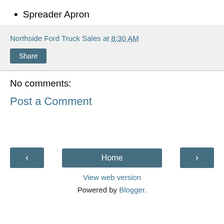Spreader Apron
Northside Ford Truck Sales at 8:30 AM
No comments:
Post a Comment
Home | View web version | Powered by Blogger.